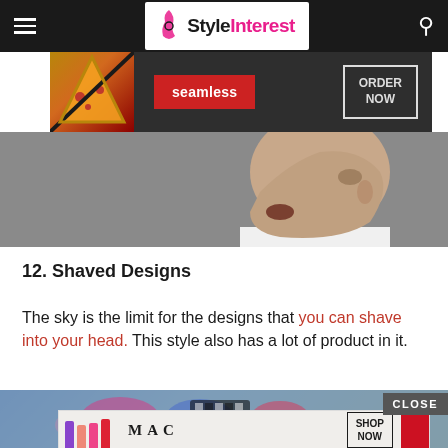StyleInterest styleinterest.com
[Figure (screenshot): Seamless food delivery advertisement banner over hero image: pizza slice on dark background, red 'seamless' button, 'ORDER NOW' outlined box]
[Figure (photo): Close-up profile photo of a man's face from the side, slightly open mouth, wearing a white collared shirt]
12. Shaved Designs
The sky is the limit for the designs that you can shave into your head. This style also has a lot of product in it.
[Figure (photo): Bottom partial image showing colorful lipsticks on blurred background with 'CLOSE' button overlay]
[Figure (screenshot): MAC cosmetics advertisement: lipsticks in purple, pink, hot pink, red colors with MAC logo and 'SHOP NOW' box]